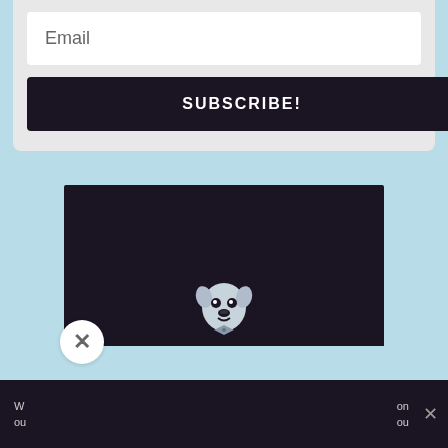[Figure (screenshot): Email subscription form with an input field labeled 'Email' and a dark 'SUBSCRIBE!' button on a light gray background]
[Figure (logo): Chris Kerr Soho logo: dark navy square with a dog/pug icon and text 'CHRIS KERR' with 'SOHO' below, on a light blue background with a popup overlay]
Visit Chris Kerr at our Soho shop.
BOOK AN APPOINTMENT